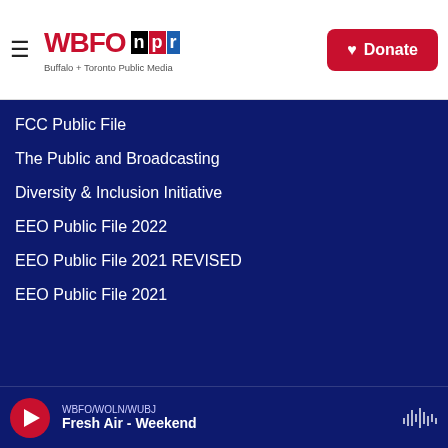WBFO NPR — Buffalo + Toronto Public Media
FCC Public File
The Public and Broadcasting
Diversity & Inclusion Initiative
EEO Public File 2022
EEO Public File 2021 REVISED
EEO Public File 2021
WBFO/WOLN/WUBJ | Fresh Air - Weekend